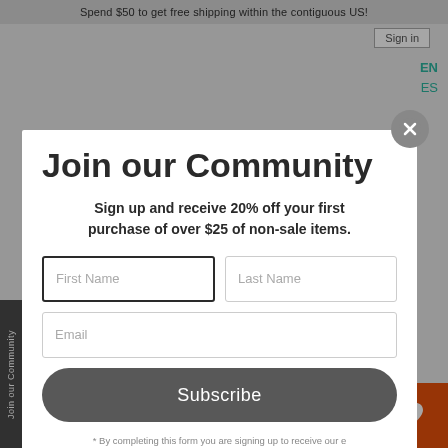Spend $50 to get free shipping within the contiguous US!
Join our Community
Sign up and receive 20% off your first purchase of over $25 of non-sale items.
First Name
Last Name
Email
Subscribe
* By completing this form you are signing up to receive our e and can unsubscribe at any time.